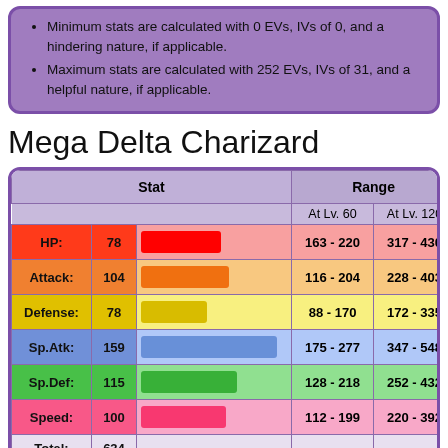Minimum stats are calculated with 0 EVs, IVs of 0, and a hindering nature, if applicable.
Maximum stats are calculated with 252 EVs, IVs of 31, and a helpful nature, if applicable.
Mega Delta Charizard
| Stat |  | Range At Lv. 60 | Range At Lv. 120 |
| --- | --- | --- | --- |
| HP: | 78 | 163 - 220 | 317 - 430 |
| Attack: | 104 | 116 - 204 | 228 - 403 |
| Defense: | 78 | 88 - 170 | 172 - 335 |
| Sp.Atk: | 159 | 175 - 277 | 347 - 548 |
| Sp.Def: | 115 | 128 - 218 | 252 - 432 |
| Speed: | 100 | 112 - 199 | 220 - 392 |
| Total: | 634 |  |  |